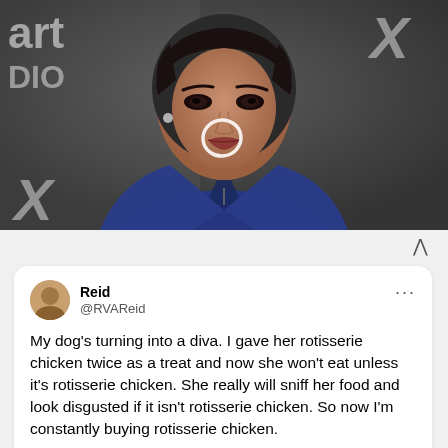[Figure (photo): A woman in a blue velvet blazer with a necklace, standing in front of a backdrop with partially visible text 'art', 'DIO', and 'X'. A circular ring graphic is overlaid near her mouth.]
Reid @RVAReid
My dog's turning into a diva. I gave her rotisserie chicken twice as a treat and now she won't eat unless it's rotisserie chicken. She really will sniff her food and look disgusted if it isn't rotisserie chicken. So now I'm constantly buying rotisserie chicken.
5:15 AM · Feb 8, 2022 · Twitter for iPhone